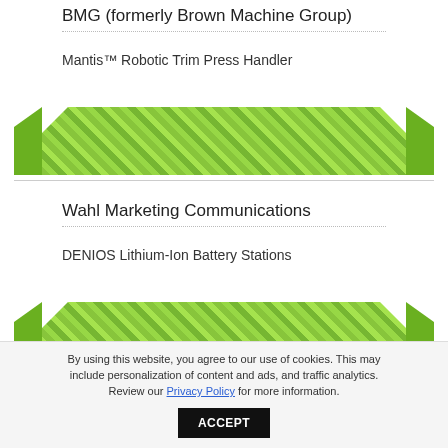BMG (formerly Brown Machine Group)
Mantis™ Robotic Trim Press Handler
Wahl Marketing Communications
DENIOS Lithium-Ion Battery Stations
Sensata
By using this website, you agree to our use of cookies. This may include personalization of content and ads, and traffic analytics. Review our Privacy Policy for more information. ACCEPT